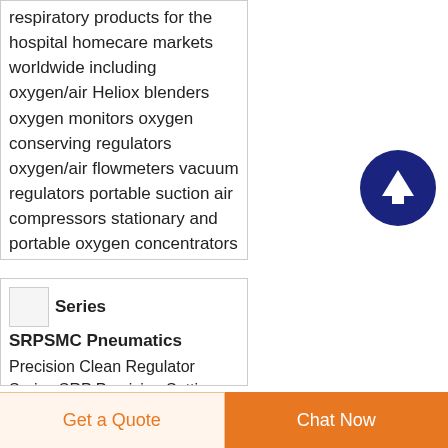respiratory products for the hospital homecare markets worldwide including oxygen/air Heliox blenders oxygen monitors oxygen conserving regulators oxygen/air flowmeters vacuum regulators portable suction air compressors stationary and portable oxygen concentrators liquid oxygen systems and a
[Figure (illustration): Dark navy blue circular button with white upward arrow icon (scroll-to-top button)]
Series SRPSMC Pneumatics
Precision Clean Regulator Series SRP Precision Setting
Get a Quote
Chat Now